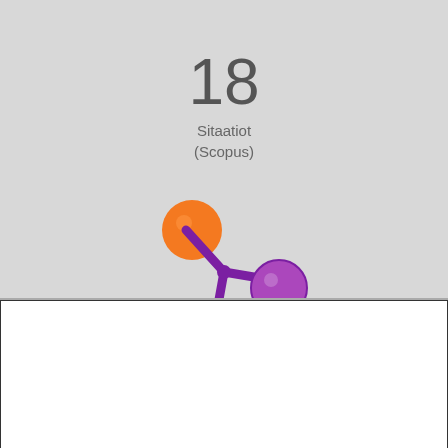18
Sitaatiot
(Scopus)
[Figure (logo): Scopus/research database logo with orange circle, purple asterisk/snowflake shape, and purple circle]
Käytämme evästeitä palvelumme analysoimiseksi ja parantamiseksi.  Evästekäytäntö
Evästeasetukset